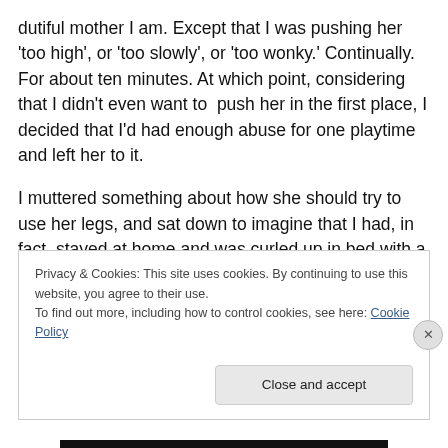dutiful mother I am. Except that I was pushing her 'too high', or 'too slowly', or 'too wonky.' Continually. For about ten minutes. At which point, considering that I didn't even want to  push her in the first place, I decided that I'd had enough abuse for one playtime and left her to it.
I muttered something about how she should try to use her legs, and sat down to imagine that I had, in fact, stayed at home and was curled up in bed with a cup of tea.
Oh, how she screamed.
Privacy & Cookies: This site uses cookies. By continuing to use this website, you agree to their use.
To find out more, including how to control cookies, see here: Cookie Policy